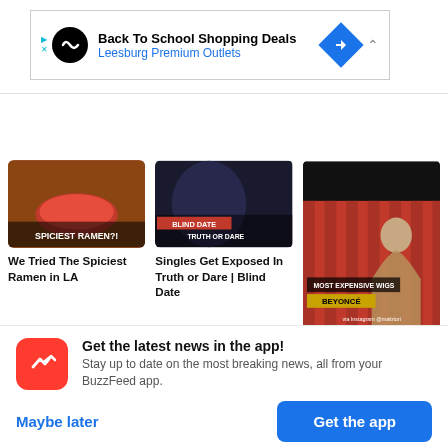[Figure (screenshot): Ad banner: Back To School Shopping Deals, Leesburg Premium Outlets]
[Figure (photo): Three video thumbnail images in a row: Spiciest Ramen video, Blind Date Truth or Dare video, Most Expensive Wigs Beyonce video]
We Tried The Spiciest Ramen in LA
Singles Get Exposed In Truth or Dare | Blind Date
Get the latest news in the app! Stay up to date on the most breaking news, all from your BuzzFeed app.
Maybe later
Get the app